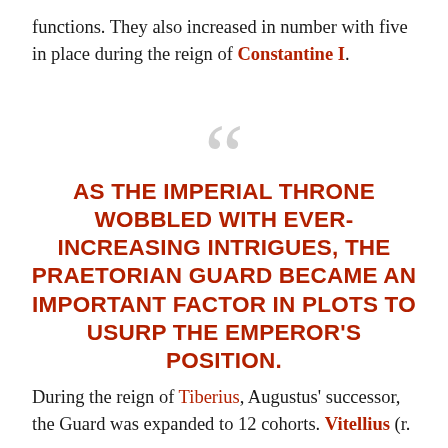functions. They also increased in number with five in place during the reign of Constantine I.
AS THE IMPERIAL THRONE WOBBLED WITH EVER-INCREASING INTRIGUES, THE PRAETORIAN GUARD BECAME AN IMPORTANT FACTOR IN PLOTS TO USURP THE EMPEROR'S POSITION.
During the reign of Tiberius, Augustus' successor, the Guard was expanded to 12 cohorts. Vitellius (r.